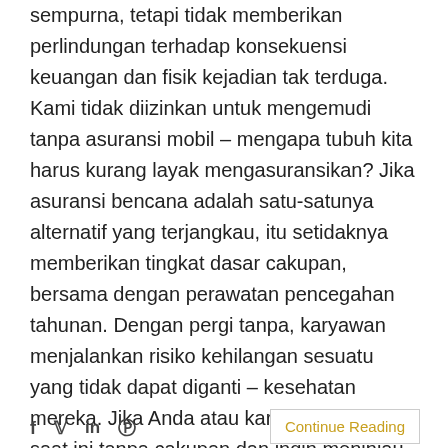sempurna, tetapi tidak memberikan perlindungan terhadap konsekuensi keuangan dan fisik kejadian tak terduga. Kami tidak diizinkan untuk mengemudi tanpa asuransi mobil – mengapa tubuh kita harus kurang layak mengasuransikan? Jika asuransi bencana adalah satu-satunya alternatif yang terjangkau, itu setidaknya memberikan tingkat dasar cakupan, bersama dengan perawatan pencegahan tahunan. Dengan pergi tanpa, karyawan menjalankan risiko kehilangan sesuatu yang tidak dapat diganti – kesehatan mereka. Jika Anda atau karyawan Anda saat ini tanpa cakupan dan ingin meninjau pilihan Anda, hubungi MMC Manfaat Departemen di (800) 899-6624.
f  y  in  @      Continue Reading